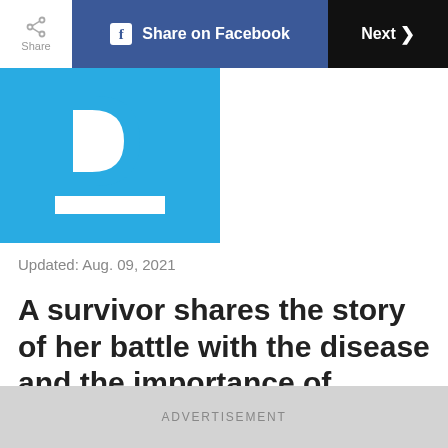Share | Share on Facebook | Next
[Figure (logo): Blue square logo with white letter D and white horizontal bar underneath]
Updated: Aug. 09, 2021
A survivor shares the story of her battle with the disease and the importance of prevention through vaccination
[Figure (infographic): Social sharing icons row: Facebook, Reddit, Twitter, Pinterest, Email]
ADVERTISEMENT